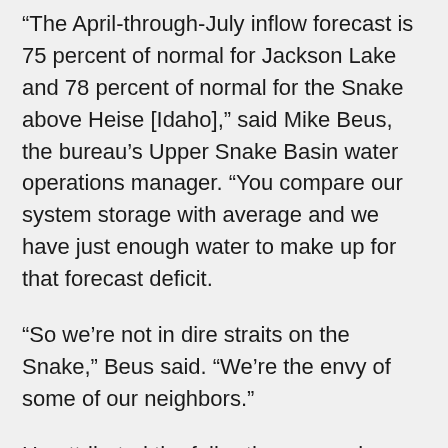“The April-through-July inflow forecast is 75 percent of normal for Jackson Lake and 78 percent of normal for the Snake above Heise [Idaho],” said Mike Beus, the bureau’s Upper Snake Basin water operations manager. “You compare our system storage with average and we have just enough water to make up for that forecast deficit.
“So we’re not in dire straits on the Snake,” Beus said. “We’re the envy of some of our neighbors.”
He attributed the fuller-than-normal reservoirs to spring 2014’s sizable snowpack, August rains and the strong “base flows” that have resulted.River gauges in the Jackson Hole area show that stream flows are running slightly high